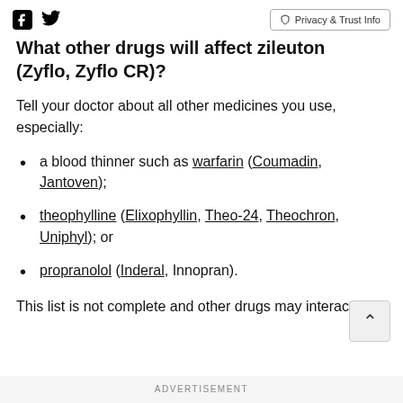[Facebook icon] [Twitter icon] | Privacy & Trust Info
What other drugs will affect zileuton (Zyflo, Zyflo CR)?
Tell your doctor about all other medicines you use, especially:
a blood thinner such as warfarin (Coumadin, Jantoven);
theophylline (Elixophyllin, Theo-24, Theochron, Uniphyl); or
propranolol (Inderal, Innopran).
This list is not complete and other drugs may interact
ADVERTISEMENT